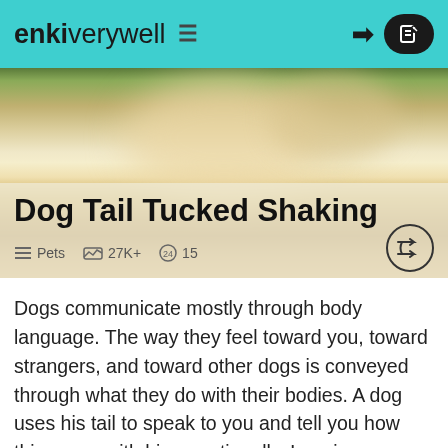enki verywell ≡ → ✎
[Figure (photo): Close-up photo of a dog, showing tan/golden fur and a blurred background with green foliage. The image fills the hero area of the article page.]
Dog Tail Tucked Shaking
≡ Pets  📊 27K+  🔍 15
Dogs communicate mostly through body language. The way they feel toward you, toward strangers, and toward other dogs is conveyed through what they do with their bodies. A dog uses his tail to speak to you and tell you how things are with him emotionally. Imagine your dog, tail tucked, shaking – what does that mean? Probably a dog is not comfortable at all with whatever is happening